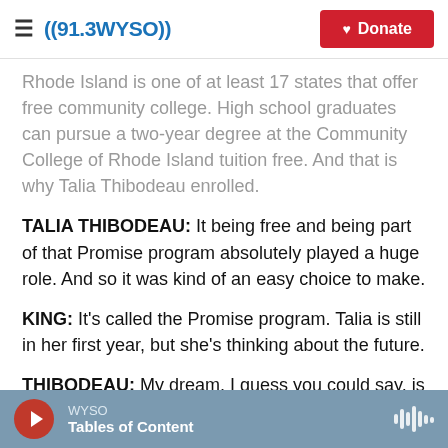((91.3 WYSO)) | Donate
Rhode Island is one of at least 17 states that offer free community college. High school graduates can pursue a two-year degree at the Community College of Rhode Island tuition free. And that is why Talia Thibodeau enrolled.
TALIA THIBODEAU: It being free and being part of that Promise program absolutely played a huge role. And so it was kind of an easy choice to make.
KING: It's called the Promise program. Talia is still in her first year, but she's thinking about the future.
THIBODEAU: My dream, I guess you could say, is to
WYSO | Tables of Content